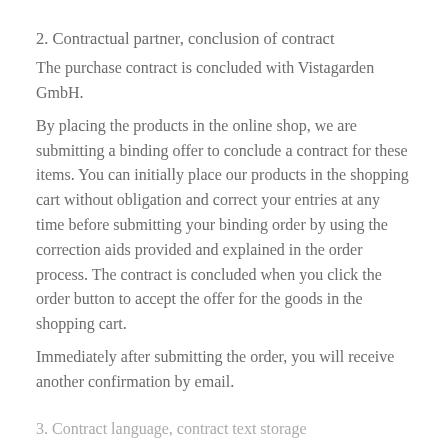2. Contractual partner, conclusion of contract
The purchase contract is concluded with Vistagarden GmbH.
By placing the products in the online shop, we are submitting a binding offer to conclude a contract for these items. You can initially place our products in the shopping cart without obligation and correct your entries at any time before submitting your binding order by using the correction aids provided and explained in the order process. The contract is concluded when you click the order button to accept the offer for the goods in the shopping cart.
Immediately after submitting the order, you will receive another confirmation by email.
3. Contract language, contract text storage